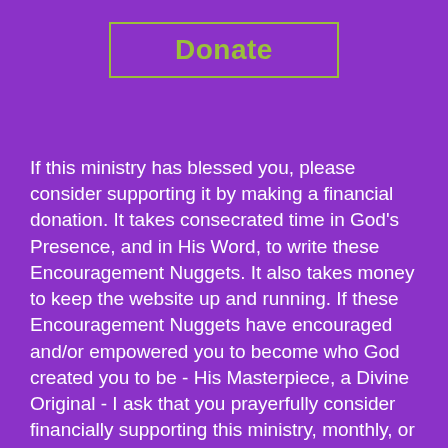Donate
If this ministry has blessed you, please consider supporting it by making a financial donation. It takes consecrated time in God's Presence, and in His Word, to write these Encouragement Nuggets. It also takes money to keep the website up and running. If these Encouragement Nuggets have encouraged and/or empowered you to become who God created you to be - His Masterpiece, a Divine Original - I ask that you prayerfully consider financially supporting this ministry, monthly, or making a onetime donation. Any amount is greatly appreciated and will make a difference. You are sowing seed into good ground. Click the donate button to give safely and securely. Thank you